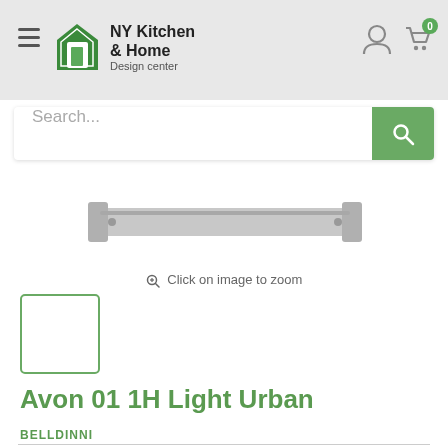[Figure (logo): NY Kitchen & Home Design Center logo with green house icon]
Search...
[Figure (photo): Partial product image of a light bar/handle - Avon 01 1H Light Urban]
Click on image to zoom
[Figure (photo): Small product thumbnail with green border]
Avon 01 1H Light Urban
BELLDINNI